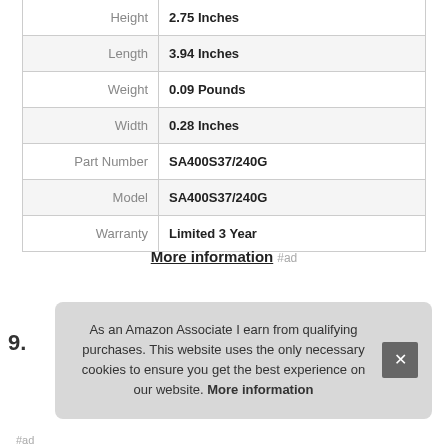| Attribute | Value |
| --- | --- |
| Height | 2.75 Inches |
| Length | 3.94 Inches |
| Weight | 0.09 Pounds |
| Width | 0.28 Inches |
| Part Number | SA400S37/240G |
| Model | SA400S37/240G |
| Warranty | Limited 3 Year |
More information #ad
9.
As an Amazon Associate I earn from qualifying purchases. This website uses the only necessary cookies to ensure you get the best experience on our website. More information
#ad